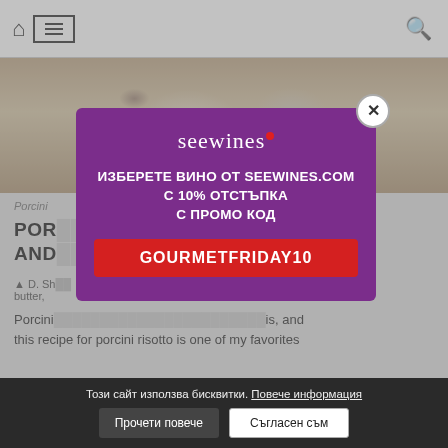[Figure (screenshot): Website header with home icon, hamburger menu icon in a box, and search icon on the right]
[Figure (photo): Food photo showing porcini risotto dish from above, partially visible]
Porcini
PORCINI ... N AND ...
D. Sh... cow butter,
Porcini ... is, and this recipe for porcini risotto is one of my favorites
[Figure (infographic): Seewines.com promotional popup modal with purple background. Logo: seewines with red dot. Text: ИЗБЕРЕТЕ ВИНО ОТ SEEWINES.COM С 10% ОТСТЪПКА С ПРОМО КОД. Promo code button: GOURMETFRIDAY10. Close button (X) in top right corner.]
Този сайт използва бисквитки. Повече информация
Прочети повече | Съгласен съм